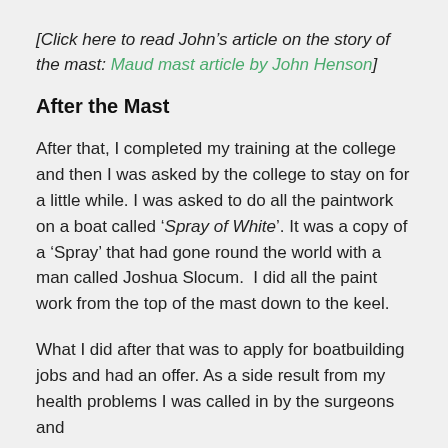[Click here to read John's article on the story of the mast: Maud mast article by John Henson]
After the Mast
After that, I completed my training at the college and then I was asked by the college to stay on for a little while. I was asked to do all the paintwork on a boat called 'Spray of White'. It was a copy of a 'Spray' that had gone round the world with a man called Joshua Slocum.  I did all the paint work from the top of the mast down to the keel.
What I did after that was to apply for boatbuilding jobs and had an offer. As a side result from my health problems I was called in by the surgeons and